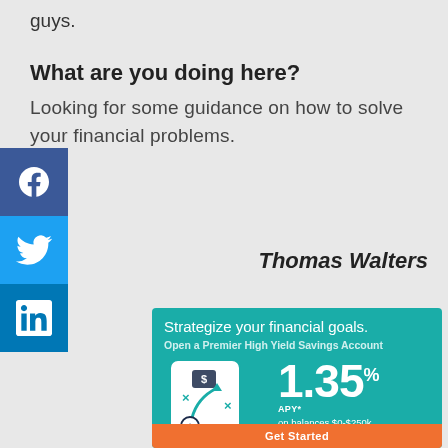guys.
What are you doing here?
Looking for some guidance on how to solve your financial problems.
[Figure (infographic): Facebook social share icon (blue square with white f)]
[Figure (infographic): Twitter social share icon (light blue square with white bird)]
[Figure (infographic): LinkedIn social share icon (dark blue square with white 'in')]
Thomas Walters
[Figure (infographic): Bank advertisement: Strategize your financial goals. Open a Premier High Yield Savings Account. 1.35% APY* on balances $0-$250k. 1.30% APY* for total balances over $250k. Get Started button. Teal background with phone graphic showing financial strategy icons.]